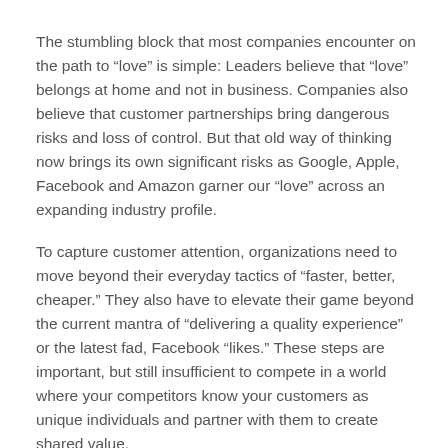The stumbling block that most companies encounter on the path to “love” is simple: Leaders believe that “love” belongs at home and not in business. Companies also believe that customer partnerships bring dangerous risks and loss of control. But that old way of thinking now brings its own significant risks as Google, Apple, Facebook and Amazon garner our “love” across an expanding industry profile.
To capture customer attention, organizations need to move beyond their everyday tactics of “faster, better, cheaper.” They also have to elevate their game beyond the current mantra of “delivering a quality experience” or the latest fad, Facebook “likes.” These steps are important, but still insufficient to compete in a world where your competitors know your customers as unique individuals and partner with them to create shared value.
In short, remember this phrase: In a world of likes, “love” matters. Companies and individuals used to believe that our business lives and personal lives are, and must be, separate. But that is no longer true. Cultural changes and technology have broken down these traditional silos, creating an environment where people